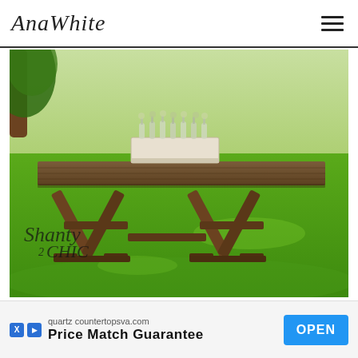AnaWhite
[Figure (photo): A large rustic farmhouse dining table with X-shaped trestle legs, dark wood stain, placed on a green lawn outdoors. A white wooden centerpiece box with glass bottle bud vases sits on top. A tree is visible on the left. The Shanty2Chic watermark logo appears in the lower left corner.]
quartzc ountertopsva.com
Price Match Guarantee
OPEN